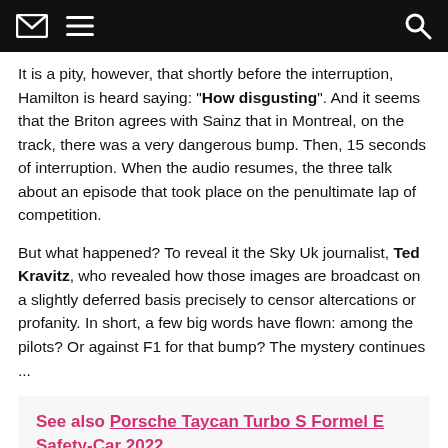[envelope icon] [menu icon] [search icon]
It is a pity, however, that shortly before the interruption, Hamilton is heard saying: "How disgusting". And it seems that the Briton agrees with Sainz that in Montreal, on the track, there was a very dangerous bump. Then, 15 seconds of interruption. When the audio resumes, the three talk about an episode that took place on the penultimate lap of competition.
But what happened? To reveal it the Sky Uk journalist, Ted Kravitz, who revealed how those images are broadcast on a slightly deferred basis precisely to censor altercations or profanity. In short, a few big words have flown: among the pilots? Or against F1 for that bump? The mystery continues ...
See also Porsche Taycan Turbo S Formel E Safety-Car 2022